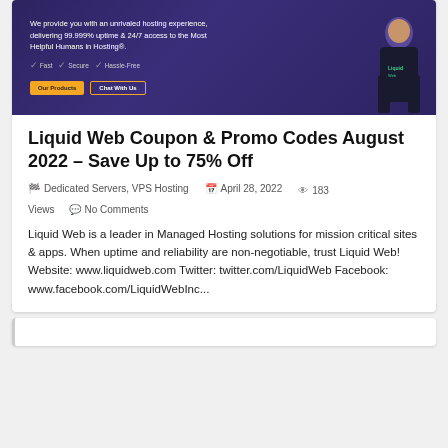[Figure (screenshot): Liquid Web hosting banner with purple background, promotional text, yellow and outline buttons, and a person wearing a Liquid Web t-shirt]
Liquid Web Coupon & Promo Codes August 2022 – Save Up to 75% Off
Dedicated Servers, VPS Hosting   April 28, 2022   183 Views   No Comments
Liquid Web is a leader in Managed Hosting solutions for mission critical sites & apps. When uptime and reliability are non-negotiable, trust Liquid Web! Website: www.liquidweb.com Twitter: twitter.com/LiquidWeb Facebook: www.facebook.com/LiquidWebInc...